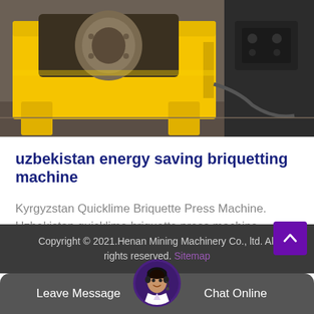[Figure (photo): Photo of a yellow industrial briquetting press machine (roller-type) on a factory floor, with a dark grey machine partially visible on the right side.]
uzbekistan energy saving briquetting machine
Kyrgyzstan Quicklime Briquette Press Machine. Uzbekistan quicklime briquette press machine briquette…
Copyright © 2021.Henan Mining Machinery Co., ltd. All rights reserved. Sitemap
Leave Message
Chat Online